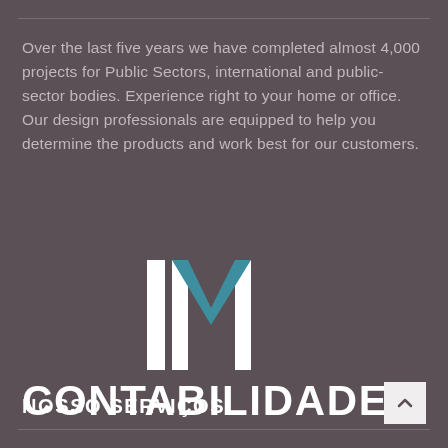Over the last five years we have completed almost 4,000 projects for Public Sectors, international and public-sector bodies. Experience right to your home or office. Our design professionals are equipped to help you determine the products and work best for our customers.
[Figure (logo): IM Contabilidade logo — vertical bar with teal chevron/M shape above, text CONTABILIDADE below in white bold]
NOSSO SERVIÇOS